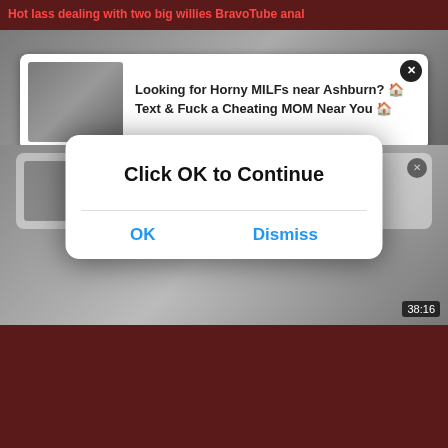Hot lass dealing with two big willies BravoTube anal
[Figure (screenshot): Advertisement banner showing adult dating site - Looking for Horny MILFs near Ashburn? Text & Fuck a Cheating MOM Near You with close button]
[Figure (screenshot): Second advertisement banner partially visible with adult content, overlaid by modal dialog]
[Figure (screenshot): Modal dialog popup with text 'Click OK to Continue' and OK and Dismiss buttons]
Teeny Tiny Anal Sex Bomb Explodes by a Massive BBC BravoTube anal
11514
[Figure (screenshot): Video thumbnail showing two people at bottom of page]